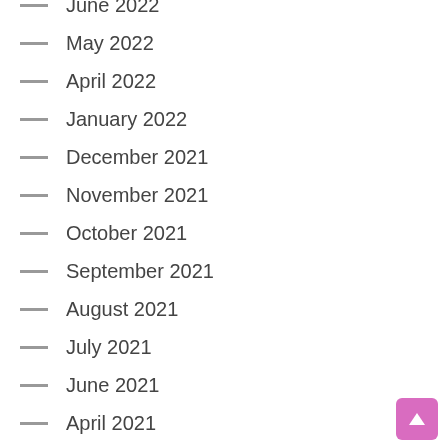June 2022
May 2022
April 2022
January 2022
December 2021
November 2021
October 2021
September 2021
August 2021
July 2021
June 2021
April 2021
February 2021
January 2021
December 2020
November 2020